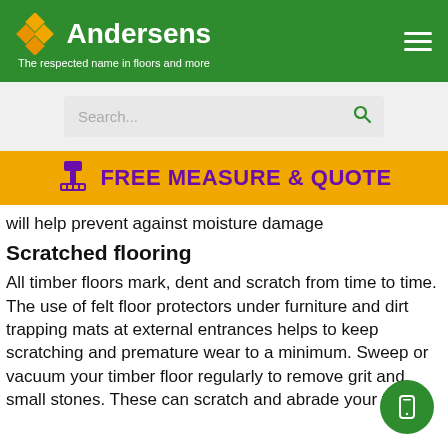[Figure (logo): Andersens logo with orange diamond tile icon and white text 'Andersens', tagline: 'The respected name in floors and more']
[Figure (screenshot): Search bar with placeholder 'Search...' and green magnifying glass icon]
[Figure (infographic): Orange banner with purple bold text 'FREE MEASURE & QUOTE' and a roller/stamp icon]
will help prevent against moisture damage
Scratched flooring
All timber floors mark, dent and scratch from time to time. The use of felt floor protectors under furniture and dirt trapping mats at external entrances helps to keep scratching and premature wear to a minimum. Sweep or vacuum your timber floor regularly to remove grit and small stones. These can scratch and abrade your floors.